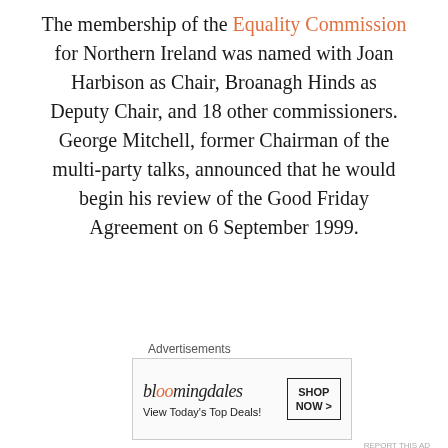The membership of the Equality Commission for Northern Ireland was named with Joan Harbison as Chair, Broanagh Hinds as Deputy Chair, and 18 other commissioners. George Mitchell, former Chairman of the multi-party talks, announced that he would begin his review of the Good Friday Agreement on 6 September 1999.
[Figure (other): Broken/missing image placeholder with small document icon]
[Figure (other): Bloomingdale's advertisement banner: 'bloomingdales / View Today's Top Deals!' with 'SHOP NOW >' button and image of woman in hat]